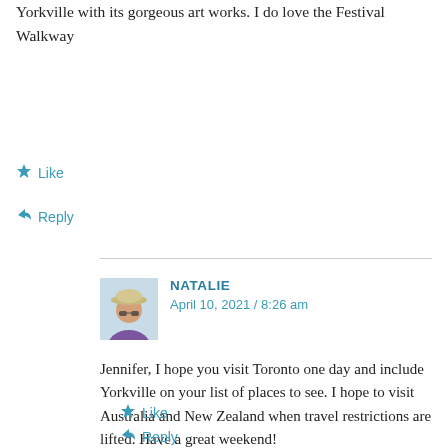Yorkville with its gorgeous art works. I do love the Festival Walkway
★ Like
↩ Reply
NATALIE
April 10, 2021 / 8:26 am
Jennifer, I hope you visit Toronto one day and include Yorkville on your list of places to see. I hope to visit Australia and New Zealand when travel restrictions are lifted. Have a great weekend!
★ Like
↩ Reply